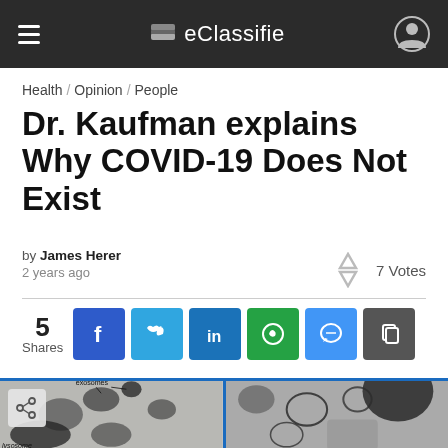eClassifie
Health / Opinion / People
Dr. Kaufman explains Why COVID-19 Does Not Exist
by James Herer
2 years ago
7 Votes
5 Shares
[Figure (screenshot): Two side-by-side electron microscope images. Left image labeled 'exosomes' (with arrows) and 'lysosome'. Right image shows similar cellular structures.]